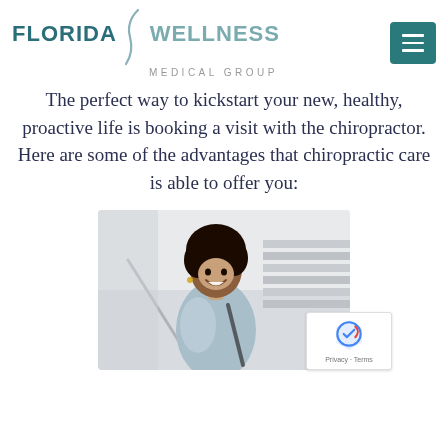Florida Wellness Medical Group
The perfect way to kickstart your new, healthy, proactive life is booking a visit with the chiropractor. Here are some of the advantages that chiropractic care is able to offer you:
[Figure (photo): A smiling young Black woman with natural hair, wearing a light blue jacket, looking upward happily, photographed outdoors near stairs.]